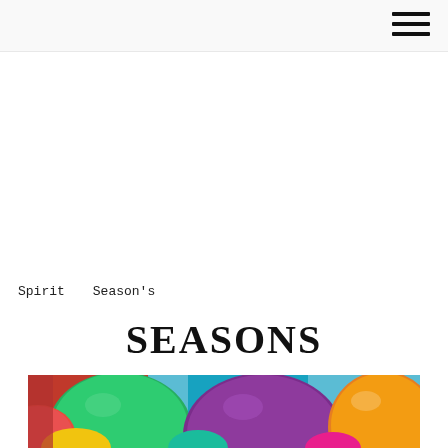Spirit   Season's
SEASONS
[Figure (photo): Colorful Easter eggs in green, red/maroon, teal, orange, yellow and other colors grouped together, photographed from above/close-up]